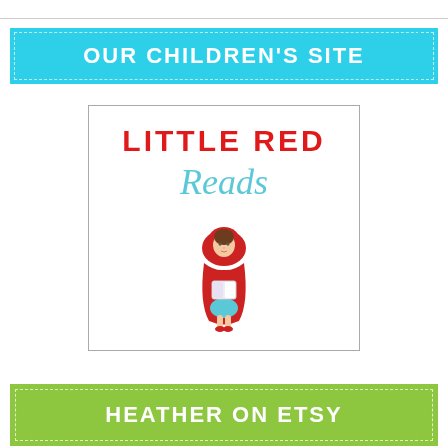OUR CHILDREN'S SITE
[Figure (logo): Little Red Reads logo: a square box with 'LITTLE RED' in bold red text and 'Reads' in light blue cursive script, with an illustration of Little Red Riding Hood character below holding a book]
HEATHER ON ETSY